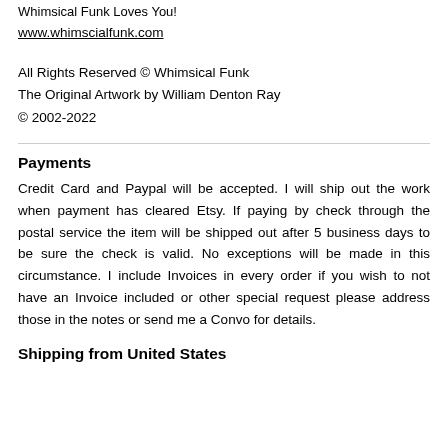Whimsical Funk Loves You!
www.whimscialfunk.com
All Rights Reserved © Whimsical Funk
The Original Artwork by William Denton Ray
© 2002-2022
Payments
Credit Card and Paypal will be accepted. I will ship out the work when payment has cleared Etsy. If paying by check through the postal service the item will be shipped out after 5 business days to be sure the check is valid. No exceptions will be made in this circumstance. I include Invoices in every order if you wish to not have an Invoice included or other special request please address those in the notes or send me a Convo for details.
Shipping from United States